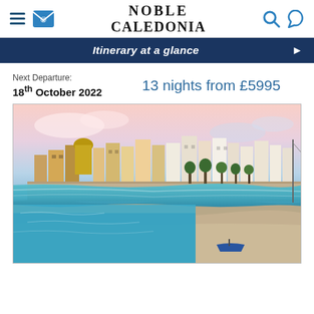Noble Caledonia
Itinerary at a glance
Next Departure:
18th October 2022
13 nights from £5995
[Figure (photo): Coastal Mediterranean town with colourful buildings along a waterfront promenade, clear blue-green water in foreground, warm golden light sky]